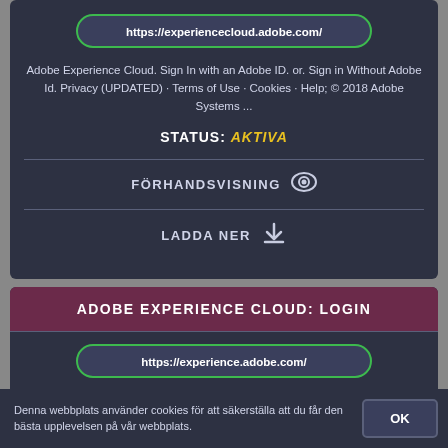https://experiencecloud.adobe.com/
Adobe Experience Cloud. Sign In with an Adobe ID. or. Sign in Without Adobe Id. Privacy (UPDATED) · Terms of Use · Cookies · Help; © 2018 Adobe Systems ...
STATUS: AKTIVA
FÖRHANDSVISNING
LADDA NER
ADOBE EXPERIENCE CLOUD: LOGIN
https://experience.adobe.com/
... Cloud. Sign In with an Adobe ID. Privacy (UPDATED) · Terms of Use · Cookies · Help; © 2020 Adobe Systems Incorporated. All Rights Reserved.
Denna webbplats använder cookies för att säkerställa att du får den bästa upplevelsen på vår webbplats.